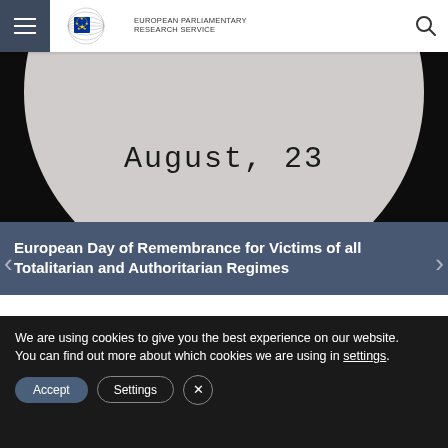[Figure (screenshot): European Parliamentary Research Service website navigation bar with hamburger menu on left, EP logo and EPRS text in center, and search icon on right]
[Figure (photo): Black and white close-up photo showing the text 'August, 23' in typewriter font on what appears to be a round surface, against a dark background]
European Day of Remembrance for Victims of all Totalitarian and Authoritarian Regimes
We are using cookies to give you the best experience on our website.
You can find out more about which cookies we are using in settings.
Accept  Settings  ×